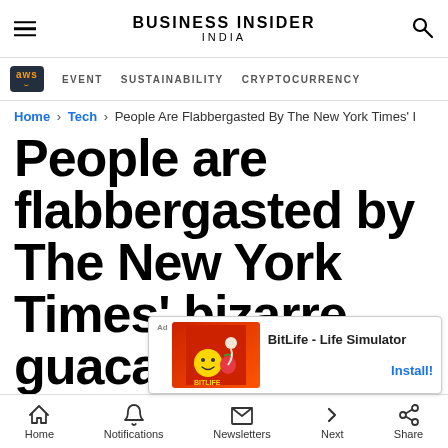BUSINESS INSIDER INDIA
EVENT   SUSTAINABILITY   CRYPTOCURRENCY
Home › Tech › People Are Flabbergasted By The New York Times' I
People are flabbergasted by The New York Times' bizarre guacamole recipe — even Barack Ob
[Figure (screenshot): Advertisement banner for BitLife - Life Simulator app with Install button]
Home   Notifications   Newsletters   Next   Share